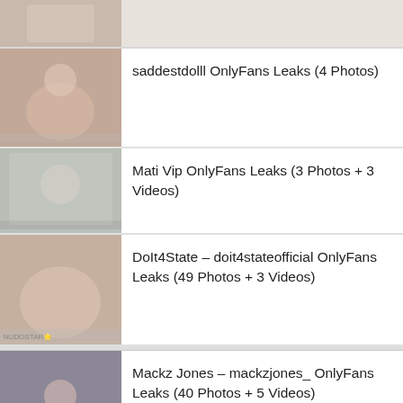(partial first item, thumbnail only)
saddestdolll OnlyFans Leaks (4 Photos)
Mati Vip OnlyFans Leaks (3 Photos + 3 Videos)
DoIt4State - doit4stateofficial OnlyFans Leaks (49 Photos + 3 Videos)
Mackz Jones - mackzjones_ OnlyFans Leaks (40 Photos + 5 Videos)
(partial last item, thumbnail only)